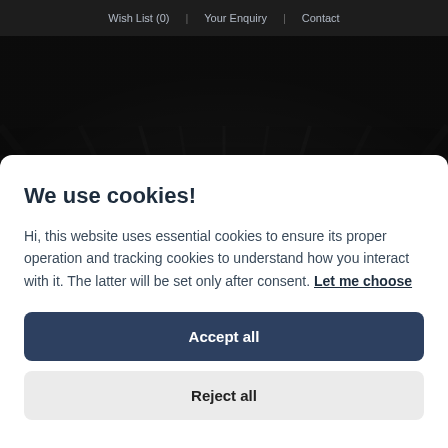Wish List (0) | Your Enquiry | Contact
[Figure (photo): Dark wood texture background with radiating plank pattern, dimly lit]
We use cookies!
Hi, this website uses essential cookies to ensure its proper operation and tracking cookies to understand how you interact with it. The latter will be set only after consent. Let me choose
Accept all
Reject all